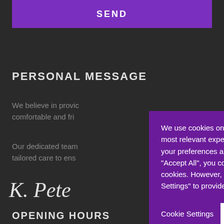SEND
PERSONAL MESSAGE
We believe in provic comfortable and fri
Our dedicated team tailored care to ens
K. Pete
OPENING HOURS
We use cookies on our website to give you the most relevant experience by remembering your preferences and repeat visits. By clicking “Accept All”, you consent to the use of ALL the cookies. However, you may visit “Cookie Settings” to provide a controlled consent.
Cookie Settings
Accept All